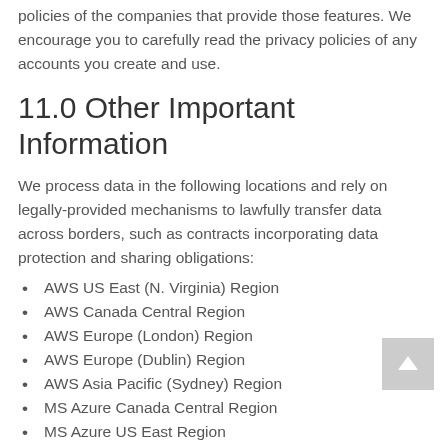policies of the companies that provide those features. We encourage you to carefully read the privacy policies of any accounts you create and use.
11.0 Other Important Information
We process data in the following locations and rely on legally-provided mechanisms to lawfully transfer data across borders, such as contracts incorporating data protection and sharing obligations:
AWS US East (N. Virginia) Region
AWS Canada Central Region
AWS Europe (London) Region
AWS Europe (Dublin) Region
AWS Asia Pacific (Sydney) Region
MS Azure Canada Central Region
MS Azure US East Region
MS Azure UAE Region